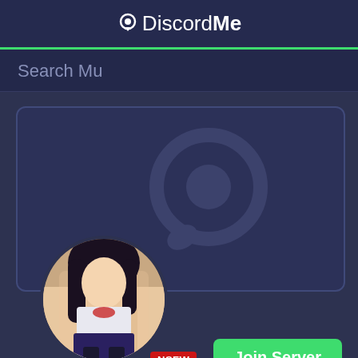DiscordMe
Search Mu
[Figure (screenshot): Discord server card with anime avatar, NSFW badge, and Join Server button on a dark blue background with DiscordMe bubble watermark]
NSFW
Join Server